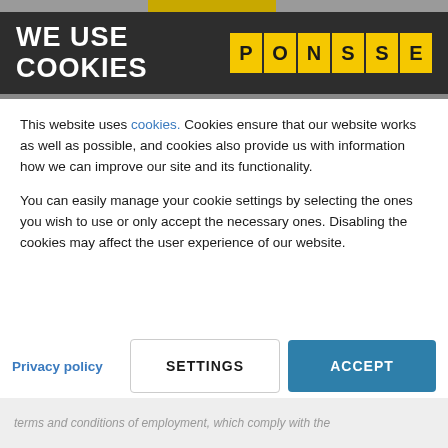WE USE COOKIES
[Figure (logo): PONSSE logo — yellow square tiles each containing a letter P, O, N, S, S, E on dark background]
This website uses cookies. Cookies ensure that our website works as well as possible, and cookies also provide us with information how we can improve our site and its functionality.
You can easily manage your cookie settings by selecting the ones you wish to use or only accept the necessary ones. Disabling the cookies may affect the user experience of our website.
Privacy policy
SETTINGS
ACCEPT
terms and conditions of employment, which comply with the